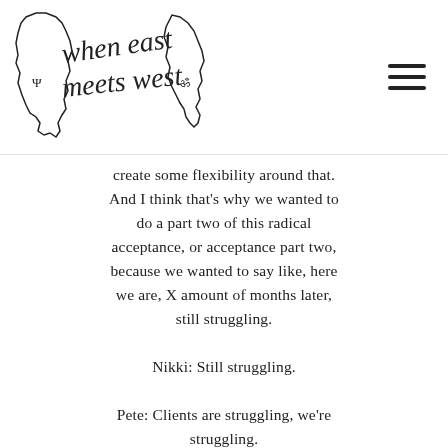when east meets west [logo]
create some flexibility around that. And I think that's why we wanted to do a part two of this radical acceptance, or acceptance part two, because we wanted to say like, here we are, X amount of months later, still struggling.
Nikki: Still struggling.
Pete: Clients are struggling, we're struggling.
Nikki: Yeah, no, that's right. And I have to share, and I've been saying this to literally every patient every